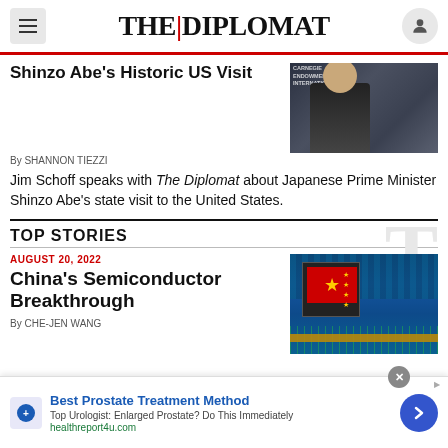THE|DIPLOMAT
Shinzo Abe's Historic US Visit
By SHANNON TIEZZI
Jim Schoff speaks with The Diplomat about Japanese Prime Minister Shinzo Abe's state visit to the United States.
[Figure (photo): Man in suit speaking at Carnegie Endowment for International Peace event]
TOP STORIES
AUGUST 20, 2022
China's Semiconductor Breakthrough
By CHE-JEN WANG
[Figure (photo): Circuit board with Chinese flag on semiconductor chip]
Best Prostate Treatment Method
Top Urologist: Enlarged Prostate? Do This Immediately
healthreport4u.com